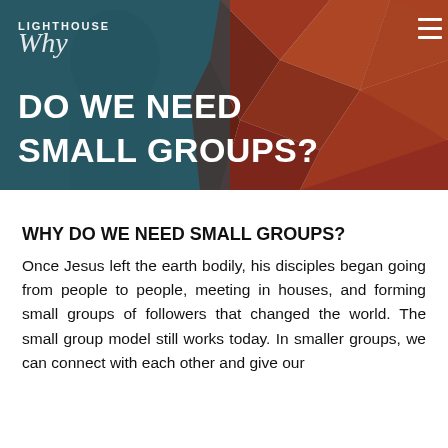[Figure (photo): Hero banner image for a church website (Lighthouse) with a teal/blue overlay on left showing a person, and geometric red/rust/orange mosaic triangles on the right. White text reads 'WHY DO WE NEED SMALL GROUPS?' in bold uppercase. The Lighthouse logo and a hamburger menu icon appear at top.]
WHY DO WE NEED SMALL GROUPS?
Once Jesus left the earth bodily, his disciples began going from people to people, meeting in houses, and forming small groups of followers that changed the world. The small group model still works today. In smaller groups, we can connect with each other and give our